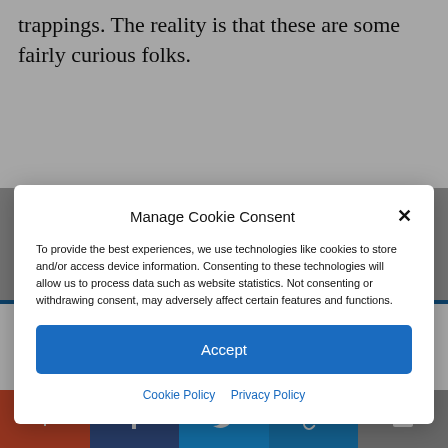trappings. The reality is that these are some fairly curious folks.
Manage Cookie Consent
To provide the best experiences, we use technologies like cookies to store and/or access device information. Consenting to these technologies will allow us to process data such as website statistics. Not consenting or withdrawing consent, may adversely affect certain features and functions.
Accept
Cookie Policy   Privacy Policy
carries an echo of a distorted fairy tale of sorts — but a true story nonetheless.  Ill-
+ f 🐦 🔗 ✉